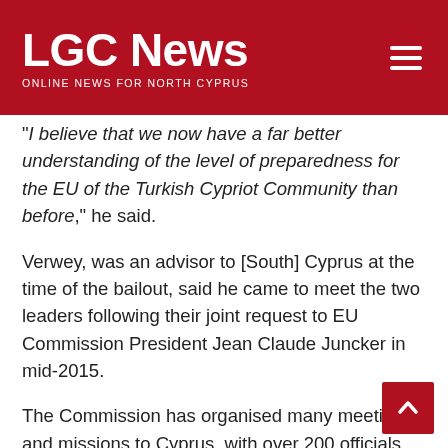LGC News — ONLINE NEWS FOR NORTH CYPRUS
“I believe that we now have a far better understanding of the level of preparedness for the EU of the Turkish Cypriot Community than before,” he said.
Verwey, was an advisor to [South] Cyprus at the time of the bailout, said he came to meet the two leaders following their joint request to EU Commission President Jean Claude Juncker in mid-2015.
The Commission has organised many meetings and missions to Cyprus, with over 200 officials and experts assisting the bicommunal ad hoc committee for EU preparation, Verwey said.
“From our side, we stand ready to continue our support through Commission experts, deploying technical